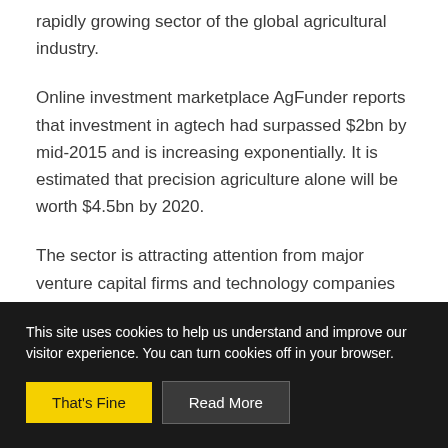rapidly growing sector of the global agricultural industry.
Online investment marketplace AgFunder reports that investment in agtech had surpassed $2bn by mid-2015 and is increasing exponentially. It is estimated that precision agriculture alone will be worth $4.5bn by 2020.
The sector is attracting attention from major venture capital firms and technology companies such as
This site uses cookies to help us understand and improve our visitor experience. You can turn cookies off in your browser.
That's Fine
Read More